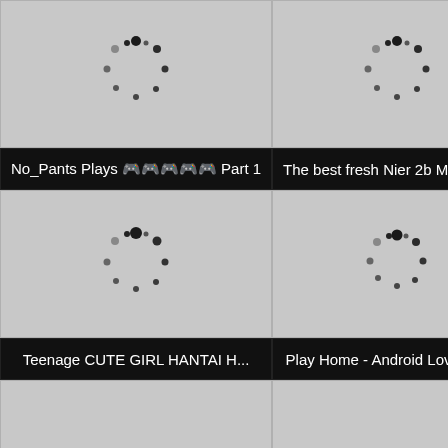[Figure (screenshot): Loading spinner dots arranged in a circle on gray background, top-left thumbnail]
[Figure (screenshot): Loading spinner dots arranged in a circle on gray background, top-right thumbnail]
No_Pants Plays 🎮🎮🎮🎮🎮 Part 1
The best fresh Nier 2b Movie wit...
[Figure (screenshot): Loading spinner dots arranged in a circle on gray background, middle-left thumbnail]
[Figure (screenshot): Loading spinner dots arranged in a circle on gray background, middle-right thumbnail]
Teenage CUTE GIRL HANTAI H...
Play Home - Android Lovemaking
[Figure (screenshot): Empty gray cell, bottom-left]
[Figure (screenshot): Empty gray cell with UP button, bottom-right]